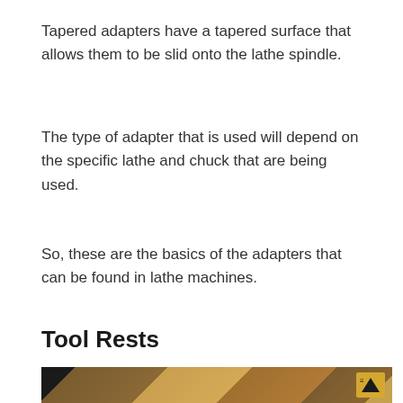Tapered adapters have a tapered surface that allows them to be slid onto the lathe spindle.
The type of adapter that is used will depend on the specific lathe and chuck that are being used.
So, these are the basics of the adapters that can be found in lathe machines.
Tool Rests
[Figure (photo): Photograph of a lathe machine tool rest area showing wooden and metal components, with a small logo badge in the top-right corner.]